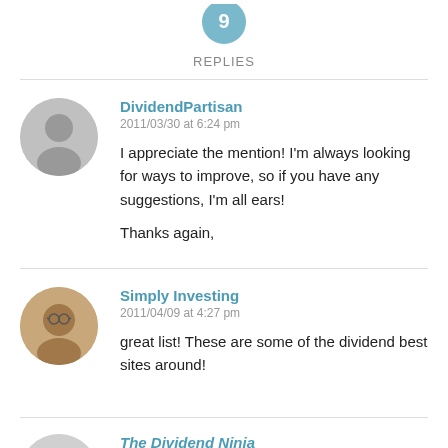REPLIES
DividendPartisan
2011/03/30 at 6:24 pm

I appreciate the mention! I'm always looking for ways to improve, so if you have any suggestions, I'm all ears!

Thanks again,
Simply Investing
2011/04/09 at 4:27 pm

great list! These are some of the dividend best sites around!
The Dividend Ninja